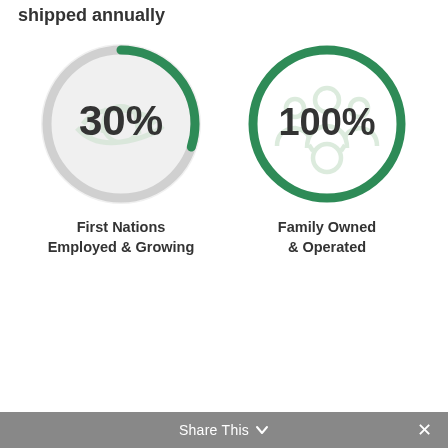shipped annually
[Figure (infographic): Two circular infographic badges side by side. Left: a partially filled arc (about 30%) in green on a light gray circle, with a handshake icon behind, showing '30%' in large dark text. Right: a fully filled green circle border (100%) with a family/people icon behind, showing '100%' in large dark text.]
First Nations Employed & Growing
Family Owned & Operated
Share This ∨